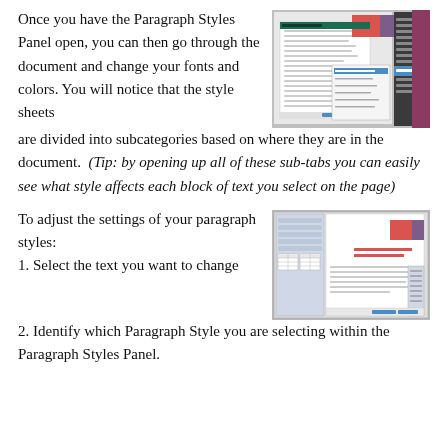Once you have the Paragraph Styles Panel open, you can then go through the document and change your fonts and colors. You will notice that the style sheets are divided into subcategories based on where they are in the document.  (Tip: by opening up all of these sub-tabs you can easily see what style affects each block of text you select on the page)
[Figure (screenshot): Screenshot of a desktop application showing a document with paragraph styles panel open and a red/pink color block visible, with a dropdown menu open on the right side.]
[Figure (screenshot): Screenshot of a desktop application showing paragraph style settings dialog with a red/pink color block and various settings options.]
To adjust the settings of your paragraph styles:
1. Select the text you want to change
2. Identify which Paragraph Style you are selecting within the Paragraph Styles Panel.